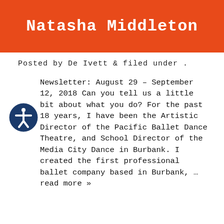Natasha Middleton
Posted by De Ivett & filed under .
Newsletter: August 29 – September 12, 2018 Can you tell us a little bit about what you do? For the past 18 years, I have been the Artistic Director of the Pacific Ballet Dance Theatre, and School Director of the Media City Dance in Burbank. I created the first professional ballet company based in Burbank, … read more »